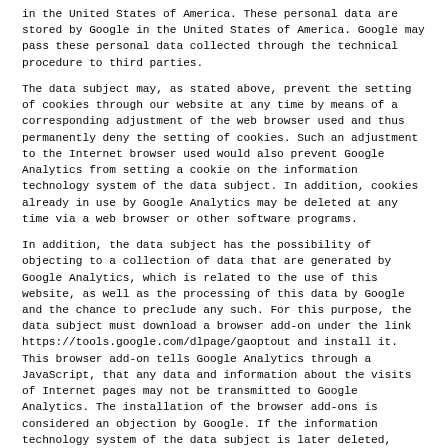in the United States of America. These personal data are stored by Google in the United States of America. Google may pass these personal data collected through the technical procedure to third parties.
The data subject may, as stated above, prevent the setting of cookies through our website at any time by means of a corresponding adjustment of the web browser used and thus permanently deny the setting of cookies. Such an adjustment to the Internet browser used would also prevent Google Analytics from setting a cookie on the information technology system of the data subject. In addition, cookies already in use by Google Analytics may be deleted at any time via a web browser or other software programs.
In addition, the data subject has the possibility of objecting to a collection of data that are generated by Google Analytics, which is related to the use of this website, as well as the processing of this data by Google and the chance to preclude any such. For this purpose, the data subject must download a browser add-on under the link https://tools.google.com/dlpage/gaoptout and install it. This browser add-on tells Google Analytics through a JavaScript, that any data and information about the visits of Internet pages may not be transmitted to Google Analytics. The installation of the browser add-ons is considered an objection by Google. If the information technology system of the data subject is later deleted, formatted, or newly installed, then the data subject must reinstall the browser add-ons to disable Google Analytics. If the browser add-on was uninstalled by the data subject or any other person who is attributable to their sphere of competence, or is disabled, it is possible to execute the reinstallation or reactivation of the browser add-ons.
Further information and the applicable data protection provisions of Google may be retrieved under https://www.google.com/intl/en/policies/privacy/ and under http://www.google.com/analytics/terms/us.html. Google Analytics is further explained